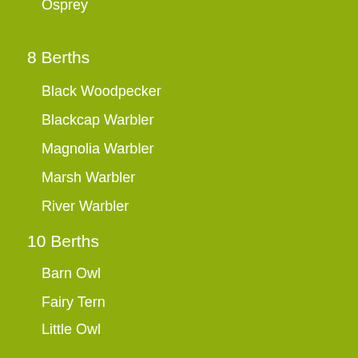Osprey
8 Berths
Black Woodpecker
Blackcap Warbler
Magnolia Warbler
Marsh Warbler
River Warbler
10 Berths
Barn Owl
Fairy Tern
Little Owl
12 Berths
Black Necked Swan